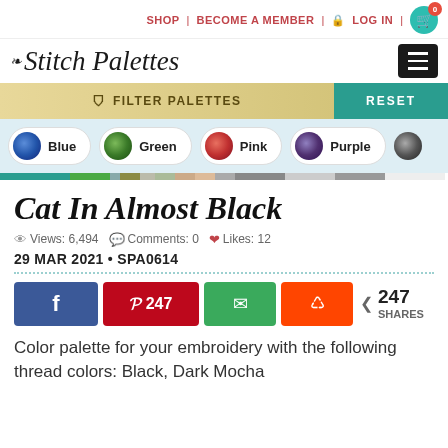SHOP | BECOME A MEMBER | LOG IN
Stitch Palettes
FILTER PALETTES  RESET
Blue
Green
Pink
Purple
Cat In Almost Black
Views: 6,494   Comments: 0   Likes: 12
29 MAR 2021 • SPA0614
247 SHARES
Color palette for your embroidery with the following thread colors: Black, Dark Mocha